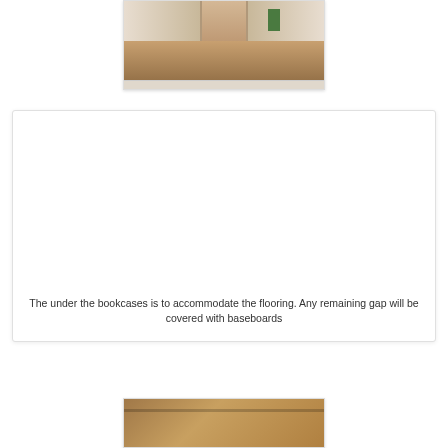[Figure (photo): Interior hallway photo showing wooden paneled walls and flooring from above angle]
[Figure (photo): Large white card/panel area with caption text at bottom about bookcases and flooring gap]
The under the bookcases is to accommodate the flooring. Any remaining gap will be covered with baseboards
[Figure (photo): Close-up photo of flooring material showing tan/brown surface]